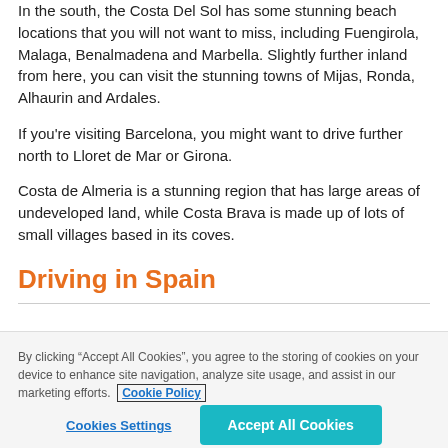In the south, the Costa Del Sol has some stunning beach locations that you will not want to miss, including Fuengirola, Malaga, Benalmadena and Marbella. Slightly further inland from here, you can visit the stunning towns of Mijas, Ronda, Alhaurin and Ardales.
If you're visiting Barcelona, you might want to drive further north to Lloret de Mar or Girona.
Costa de Almeria is a stunning region that has large areas of undeveloped land, while Costa Brava is made up of lots of small villages based in its coves.
Driving in Spain
By clicking “Accept All Cookies”, you agree to the storing of cookies on your device to enhance site navigation, analyze site usage, and assist in our marketing efforts. Cookie Policy
Cookies Settings
Accept All Cookies